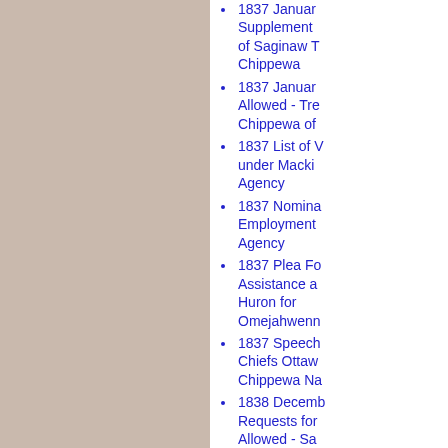1837 January Supplement of Saginaw Tribe Chippewa
1837 January Allowed - Treaty Chippewa of
1837 List of under Mackinac Agency
1837 Nomination Employment Agency
1837 Plea For Assistance and Huron for Omejahwenn
1837 Speech Chiefs Ottawa Chippewa Na
1838 December Requests for Allowed - Saginaw Chippewa
1838 Appraisal Henry R. Schoolcraft Mackinac Agency
1838 Claims Mackinac Agency
1838 Claims The Ottawa